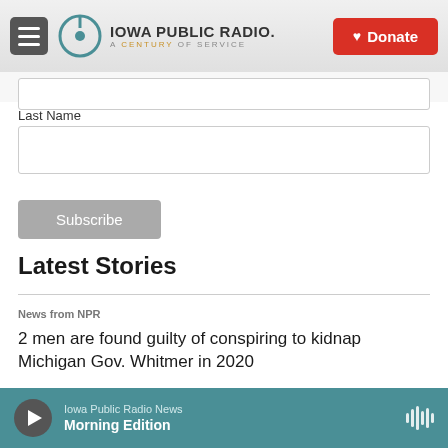[Figure (logo): Iowa Public Radio logo with hamburger menu and Donate button]
Last Name
[Figure (screenshot): Last Name text input field (empty)]
Subscribe
Latest Stories
News from NPR
2 men are found guilty of conspiring to kidnap Michigan Gov. Whitmer in 2020
Iowa Public Radio News
Morning Edition